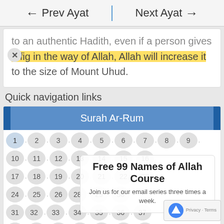← Prev Ayat    Next Ayat →
to an authentic Hadith, even if a person gives a fig in the way of Allah, Allah will increase it to the size of Mount Uhud.
Quick navigation links
Surah Ar-Rum
1 . 2 . 3 . 4 . 5 . 6 . 7 . 8 . 9 .
10 . 11 . 12 . 13 . 14 . 15 . 16 .
17 . 18 . 19 . 20 . 21 . 22 . 23 .
24 . 25 . 26 . 27 . 28 . 29 . 30
31 . 32 . 33 . 34 . 35 . 36 . 37
38 . 39 . 40 . 41 . 42 . 43 . 44
Free 99 Names of Allah Course
Join us for our email series three times a week.